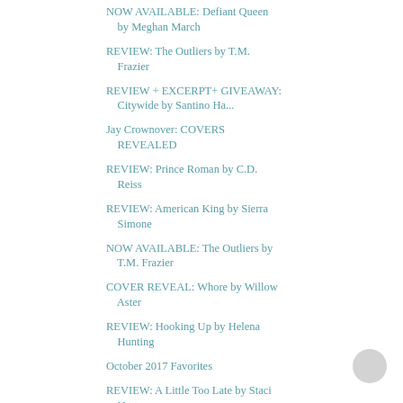NOW AVAILABLE: Defiant Queen by Meghan March
REVIEW: The Outliers by T.M. Frazier
REVIEW + EXCERPT+ GIVEAWAY: Citywide by Santino Ha...
Jay Crownover: COVERS REVEALED
REVIEW: Prince Roman by C.D. Reiss
REVIEW: American King by Sierra Simone
NOW AVAILABLE: The Outliers by T.M. Frazier
COVER REVEAL: Whore by Willow Aster
REVIEW: Hooking Up by Helena Hunting
October 2017 Favorites
REVIEW: A Little Too Late by Staci Hart
▾ OCTOBER (27)
▾ SEPTEMBER (25)